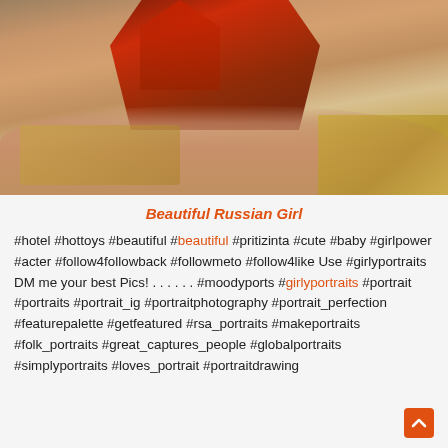[Figure (photo): Photo of a woman in a red outfit lying on a bed with yellow/gold blanket]
Beautiful Russian Girl
#hotel #hottoys #beautiful #beautiful #pritizinta #cute #baby #girlpower #acter #follow4followback #followmeto #follow4like Use #girlyportraits DM me your best Pics! . . . . . . #moodyports #girlyportraits #portrait #portraits #portrait_ig #portraitphotography #portrait_perfection #featurepalette #getfeatured #rsa_portraits #makeportraits #folk_portraits #great_captures_people #globalportraits #simplyportraits #loves_portrait #portraitdrawing